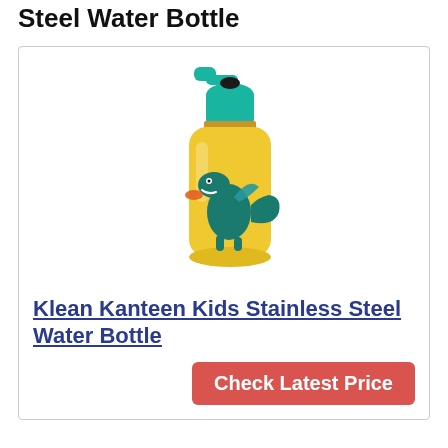Steel Water Bottle
[Figure (photo): Yellow Klean Kanteen kids stainless steel water bottle with teal sport cap and a teal dinosaur graphic on the body]
Klean Kanteen Kids Stainless Steel Water Bottle
Check Latest Price